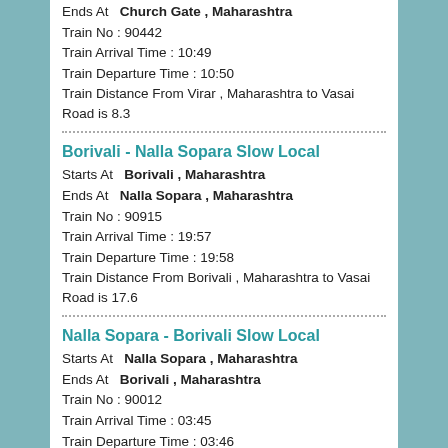Ends At   Church Gate , Maharashtra
Train No : 90442
Train Arrival Time : 10:49
Train Departure Time : 10:50
Train Distance From Virar , Maharashtra to Vasai Road is 8.3
Borivali - Nalla Sopara Slow Local
Starts At   Borivali , Maharashtra
Ends At   Nalla Sopara , Maharashtra
Train No : 90915
Train Arrival Time : 19:57
Train Departure Time : 19:58
Train Distance From Borivali , Maharashtra to Vasai Road is 17.6
Nalla Sopara - Borivali Slow Local
Starts At   Nalla Sopara , Maharashtra
Ends At   Borivali , Maharashtra
Train No : 90012
Train Arrival Time : 03:45
Train Departure Time : 03:46
Train Distance From Nalla Sopara , Maharashtra to Vasai Road is 4.1
Churchgate - Virar Semifast Local
Starts At   Church Gate , Maharashtra
Ends At   Virar , Maharashtra
Train No : 90641
Train Arrival Time : 15:36